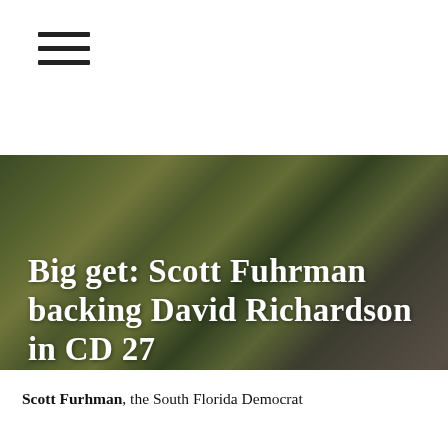≡
[Figure (photo): Close-up portrait of a man with short hair smiling, with an out-of-focus green background. Large white bold text overlaid reads: Big get: Scott Fuhrman backing David Richardson in CD 27]
Big get: Scott Fuhrman backing David Richardson in CD 27
Scott Furhman, the South Florida Democrat